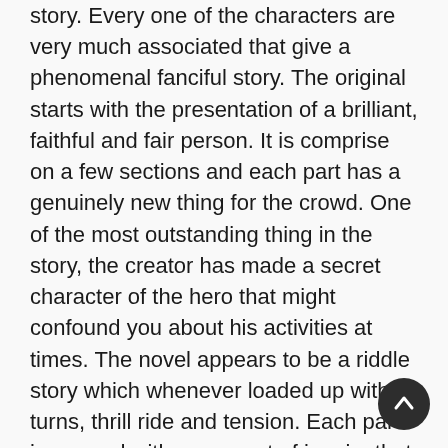story. Every one of the characters are very much associated that give a phenomenal fanciful story. The original starts with the presentation of a brilliant, faithful and fair person. It is comprise on a few sections and each part has a genuinely new thing for the crowd. One of the most outstanding thing in the story, the creator has made a secret character of the hero that might confound you about his activities at times. The novel appears to be a riddle story which whenever loaded up with turns, thrill ride and tension. Each part is opened with some sort of inquiry that you will sort out toward the end. The creator has utilized the flashbacks to make it look even sensible. Larger part of the characters in the story has the muddled chronicles that makes their conduct looks dubious. It contains the inner talk that uplift pressure among